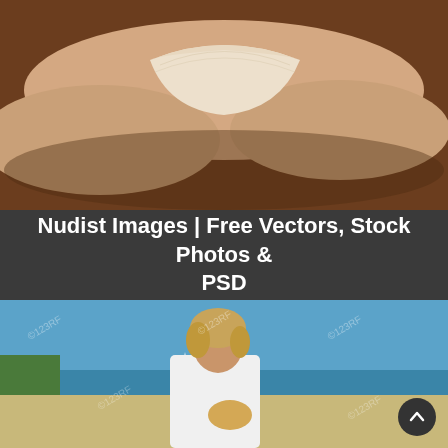[Figure (photo): Close-up photo of a person's lower body wearing beige/cream colored underwear, lying on a brown surface. Watermarked stock photo.]
Nudist Images | Free Vectors, Stock Photos & PSD
[Figure (photo): Woman with blonde wavy hair wearing an open white shirt on a sandy beach holding a seashell, with blue ocean and sky in background. Watermarked 123RF stock photo.]